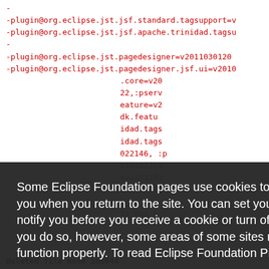-
-plugin@org.eclipse.jst.jsf.standard.tagsupport=v
-plugin@org.eclipse.jst.jsf.apache.trinidad.tagsu
-
-plugin@org.eclipse.jst.pagedesigner=v201103012031
-plugin@org.eclipse.jst.pagedesigner.jsf.ui=v20110
.core=v20
22,:pserv
eature=v2
dk.featu
idad.tags
idad.tags
022146,:p
110302214
e=v201103
ature=v20
ts.map b
deleted file mode 100644
Some Eclipse Foundation pages use cookies to better serve you when you return to the site. You can set your browser to notify you before you receive a cookie or turn off cookies. If you do so, however, some areas of some sites may not function properly. To read Eclipse Foundation Privacy Policy click here.